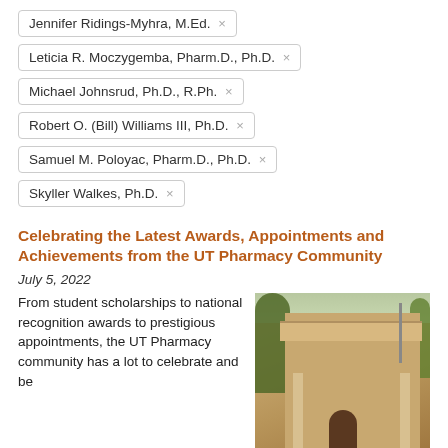Jennifer Ridings-Myhra, M.Ed. ×
Leticia R. Moczygemba, Pharm.D., Ph.D. ×
Michael Johnsrud, Ph.D., R.Ph. ×
Robert O. (Bill) Williams III, Ph.D. ×
Samuel M. Poloyac, Pharm.D., Ph.D. ×
Skyller Walkes, Ph.D. ×
Celebrating the Latest Awards, Appointments and Achievements from the UT Pharmacy Community
July 5, 2022
From student scholarships to national recognition awards to prestigious appointments, the UT Pharmacy community has a lot to celebrate and be
[Figure (photo): Photo of a university building exterior with stone facade, arched doorway, columns, and trees]